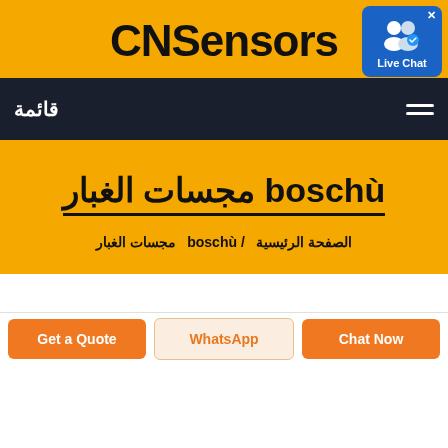CNSensors
قائمة
[Figure (other): Live Chat support bubble with user icon and blue background]
boschù مجسات الغبار
الصفحة الرئيسية / boschù / مجسات الغبار
Get a Quote
WhatsApp
Chat Now